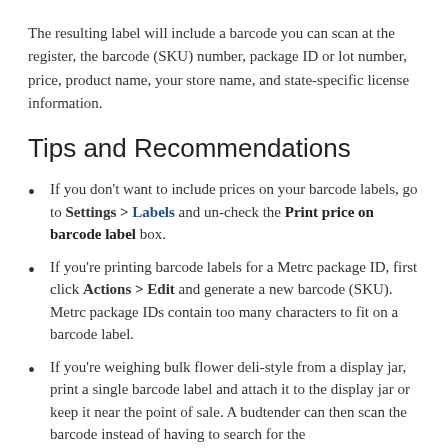The resulting label will include a barcode you can scan at the register, the barcode (SKU) number, package ID or lot number, price, product name, your store name, and state-specific license information.
Tips and Recommendations
If you don't want to include prices on your barcode labels, go to Settings > Labels and un-check the Print price on barcode label box.
If you're printing barcode labels for a Metrc package ID, first click Actions > Edit and generate a new barcode (SKU). Metrc package IDs contain too many characters to fit on a barcode label.
If you're weighing bulk flower deli-style from a display jar, print a single barcode label and attach it to the display jar or keep it near the point of sale. A budtender can then scan the barcode instead of having to search for the